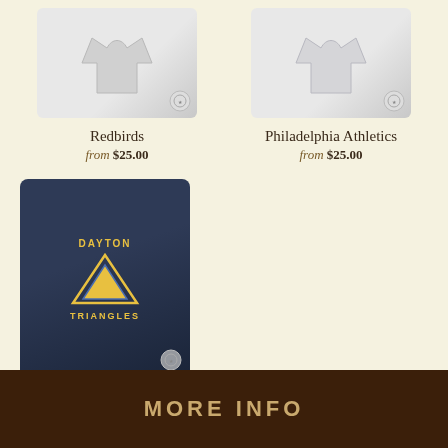[Figure (photo): White/light gray folded t-shirt product photo for Redbirds]
Redbirds
from $25.00
[Figure (photo): White/light gray folded t-shirt product photo for Philadelphia Athletics]
Philadelphia Athletics
from $25.00
[Figure (photo): Navy blue Dayton Triangles t-shirt with gold triangle graphic and team name]
Dayton Triangles
from $25.00
MORE INFO